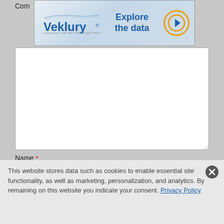Com
[Figure (other): Veklury (remdesivir) advertisement banner with logo, 'Explore the data' text, and arrow button]
Name *
Email *
Post Comment
This website stores data such as cookies to enable essential site functionality, as well as marketing, personalization, and analytics. By remaining on this website you indicate your consent. Privacy Policy